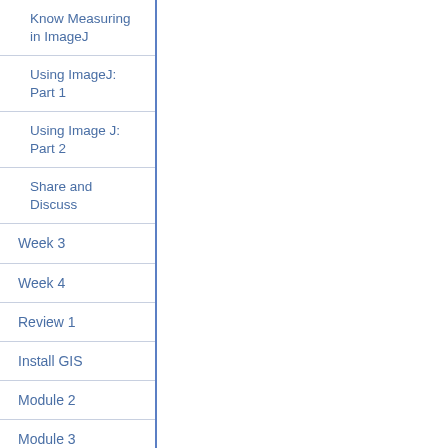Know Measuring in ImageJ
Using ImageJ: Part 1
Using Image J: Part 2
Share and Discuss
Week 3
Week 4
Review 1
Install GIS
Module 2
Module 3
Resources